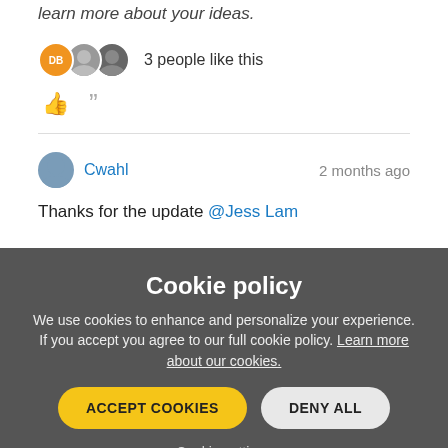learn more about your ideas.
3 people like this
Cwahl · 2 months ago
Thanks for the update @Jess Lam
Cookie policy
We use cookies to enhance and personalize your experience. If you accept you agree to our full cookie policy. Learn more about our cookies.
ACCEPT COOKIES
DENY ALL
Cookie settings
Reply